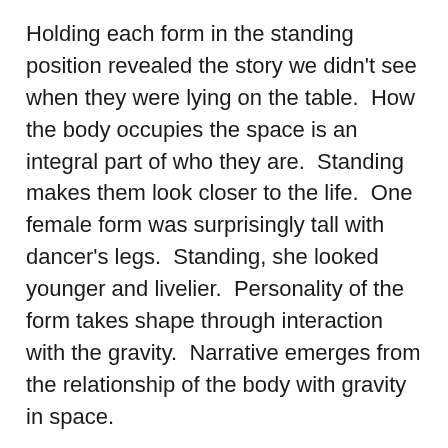Holding each form in the standing position revealed the story we didn't see when they were lying on the table. How the body occupies the space is an integral part of who they are. Standing makes them look closer to the life. One female form was surprisingly tall with dancer's legs. Standing, she looked younger and livelier. Personality of the form takes shape through interaction with the gravity. Narrative emerges from the relationship of the body with gravity in space.
Integral Anatomy Workshop is an intensive hands-on human dissection workshop for manual therapists/structural integrators/body workers/philosophers. It's quite different from medical school gross anatomy lab classes.
Dissection is an act of introspection. By unwrapping the